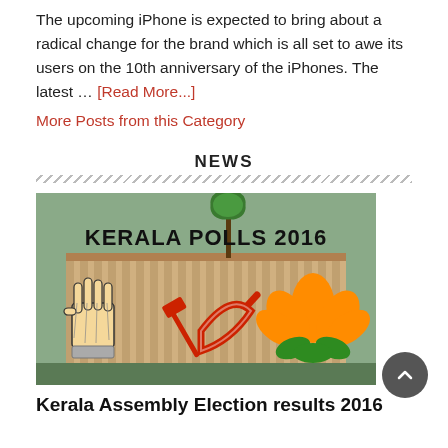The upcoming iPhone is expected to bring about a radical change for the brand which is all set to awe its users on the 10th anniversary of the iPhones. The latest … [Read More...]
More Posts from this Category
NEWS
[Figure (photo): Kerala Polls 2016 graphic showing the Congress hand symbol, Communist hammer and sickle, and BJP lotus flower against a building background]
Kerala Assembly Election results 2016